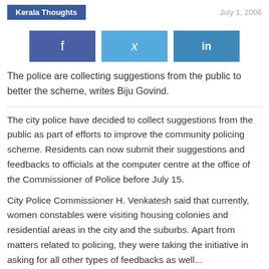Kerala Thoughts | July 1, 2006
[Figure (infographic): Social media share buttons: Facebook (f), Twitter (bird icon), LinkedIn (in)]
The police are collecting suggestions from the public to better the scheme, writes Biju Govind.
The city police have decided to collect suggestions from the public as part of efforts to improve the community policing scheme. Residents can now submit their suggestions and feedbacks to officials at the computer centre at the office of the Commissioner of Police before July 15.
City Police Commissioner H. Venkatesh said that currently, women constables were visiting housing colonies and residential areas in the city and the suburbs. Apart from matters related to policing, they were taking the initiative in asking for all other types of feedbacks as well...